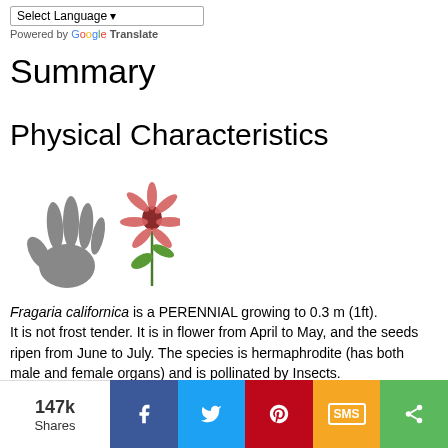Select Language | Powered by Google Translate
Summary
Physical Characteristics
[Figure (illustration): Illustration of a hand (grey silhouette) and a pink coneflower/Echinacea plant representing Fragaria californica height scale]
Fragaria californica is a PERENNIAL growing to 0.3 m (1ft). It is not frost tender. It is in flower from April to May, and the seeds ripen from June to July. The species is hermaphrodite (has both male and female organs) and is pollinated by Insects. Suitable for: light (sandy), medium (loamy) and heavy (clay) soils and prefers well drained soil. Suitable ph:
147k Shares | Facebook | Twitter | Pinterest | SMS | Share